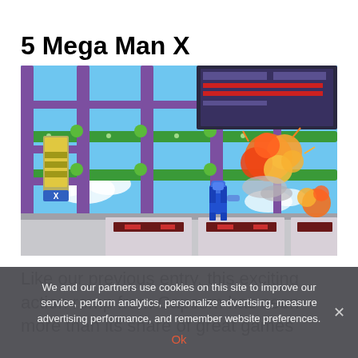5 Mega Man X
[Figure (screenshot): Gameplay screenshot from Mega Man X showing the player character in a blue suit firing at enemies with explosions on screen, set in an industrial level with green pipes and a blue sky with clouds.]
Like our previous entry, this exciting action romp from Capcom has seen more than its share of great games
We and our partners use cookies on this site to improve our service, perform analytics, personalize advertising, measure advertising performance, and remember website preferences.
Ok